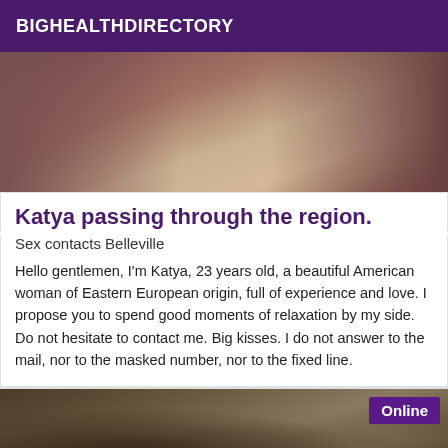BIGHEALTHDIRECTORY
[Figure (photo): Partial photo of a person showing legs/lower body]
Katya passing through the region.
Sex contacts Belleville
Hello gentlemen, I'm Katya, 23 years old, a beautiful American woman of Eastern European origin, full of experience and love. I propose you to spend good moments of relaxation by my side. Do not hesitate to contact me. Big kisses. I do not answer to the mail, nor to the masked number, nor to the fixed line.
[Figure (photo): Photo of a person with curly brown hair, with an Online badge in the top right corner]